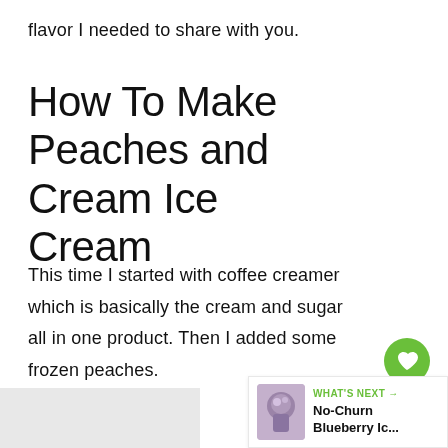flavor I needed to share with you.
How To Make Peaches and Cream Ice Cream
This time I started with coffee creamer which is basically the cream and sugar all in one product. Then I added some frozen peaches.
[Figure (infographic): Green circular heart/like button icon with white heart symbol, count 24 below, and share icon below that]
[Figure (infographic): What's Next widget showing a thumbnail image of blueberry ice cream with label WHAT'S NEXT and title No-Churn Blueberry Ic...]